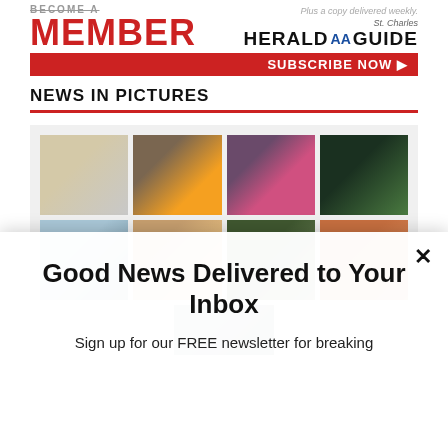[Figure (logo): Herald Guide Member subscription banner with MEMBER in red, St. Charles Herald AA Guide logo, and Subscribe Now button on red background]
NEWS IN PICTURES
[Figure (photo): Grid of 9 news photos showing various people and events]
Good News Delivered to Your Inbox
Sign up for our FREE newsletter for breaking